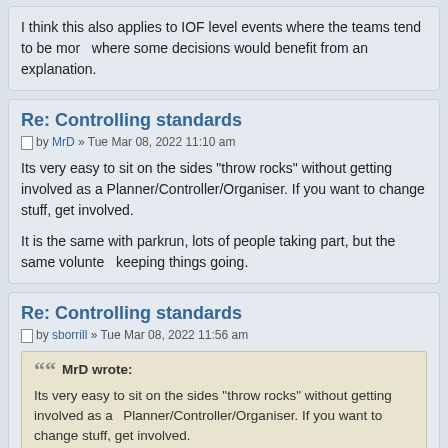I think this also applies to IOF level events where the teams tend to be more professional, where some decisions would benefit from an explanation.
Re: Controlling standards
by MrD » Tue Mar 08, 2022 11:10 am
Its very easy to sit on the sides "throw rocks" without getting involved as a Planner/Controller/Organiser. If you want to change stuff, get involved.
It is the same with parkrun, lots of people taking part, but the same volunteers keeping things going.
Re: Controlling standards
by sborrill » Tue Mar 08, 2022 11:56 am
MrD wrote: Its very easy to sit on the sides "throw rocks" without getting involved as a Planner/Controller/Organiser. If you want to change stuff, get involved. It is the same with parkrun, lots of people taking part, but the same volunteers week keeping things going.